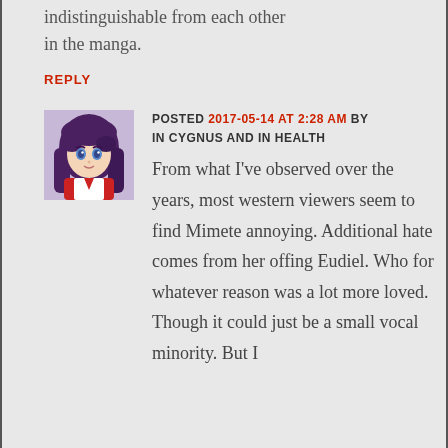indistinguishable from each other in the manga.
REPLY
[Figure (illustration): Avatar image of an anime-style character with purple hair and blue eyes, wearing a red and white outfit]
POSTED 2017-05-14 AT 2:28 AM BY IN CYGNUS AND IN HEALTH
From what I've observed over the years, most western viewers seem to find Mimete annoying. Additional hate comes from her offing Eudiel. Who for whatever reason was a lot more loved.
Though it could just be a small vocal minority. But I